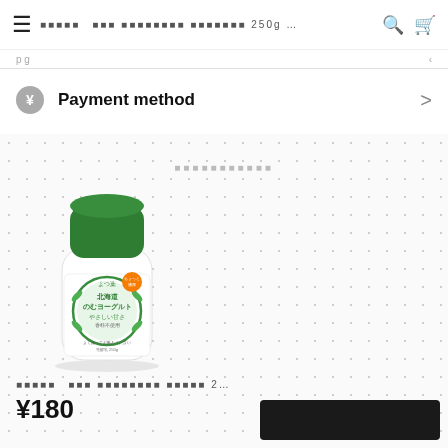☰  ｜よつ葉｜　よつ葉 北海道のむヨーグルト やさしい甘さ 250g ...  🔍  🛒
p g
Payment method  >
□□□□□□□□□□□
[Figure (photo): Product photo of Yotsuba Hokkaido drinking yogurt bottle with green cap and label]
｜よつ葉｜　よつ葉 北海道のむヨーグルト やさしい甘さ 2...
¥180